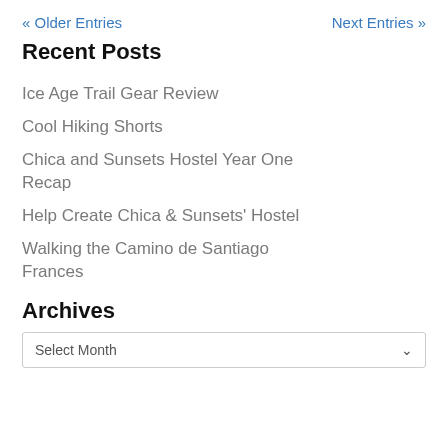« Older Entries    Next Entries »
Recent Posts
Ice Age Trail Gear Review
Cool Hiking Shorts
Chica and Sunsets Hostel Year One Recap
Help Create Chica & Sunsets' Hostel
Walking the Camino de Santiago Frances
Archives
Select Month